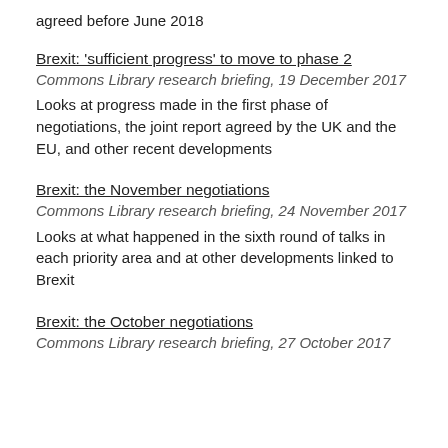agreed before June 2018
Brexit: 'sufficient progress' to move to phase 2
Commons Library research briefing, 19 December 2017
Looks at progress made in the first phase of negotiations, the joint report agreed by the UK and the EU, and other recent developments
Brexit: the November negotiations
Commons Library research briefing, 24 November 2017
Looks at what happened in the sixth round of talks in each priority area and at other developments linked to Brexit
Brexit: the October negotiations
Commons Library research briefing, 27 October 2017